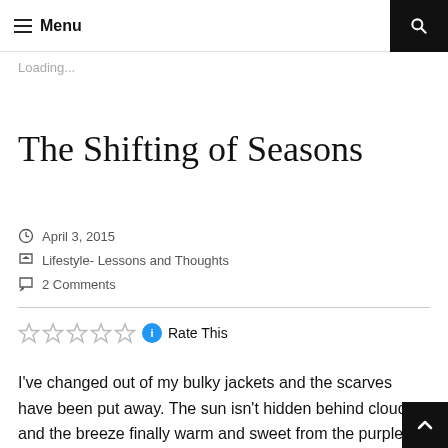≡ Menu
Loading...
The Shifting of Seasons
April 3, 2015
Lifestyle- Lessons and Thoughts
2 Comments
Rate This
I've changed out of my bulky jackets and the scarves have been put away. The sun isn't hidden behind clouds and the breeze finally warm and sweet from the purple blooms on the vine by my house.